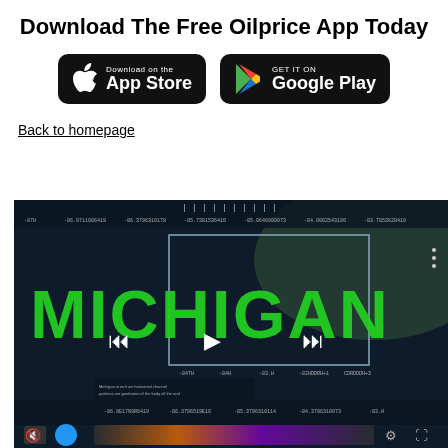Download The Free Oilprice App Today
[Figure (screenshot): App Store and Google Play download badges on black rounded rectangles]
Back to homepage
[Figure (screenshot): Screenshot of Michigan map data visualization app with green MICHIGAN text overlay and playback controls]